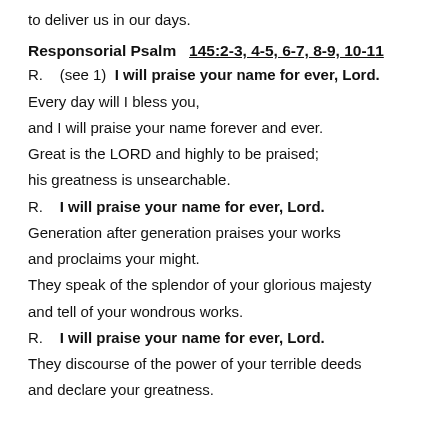to deliver us in our days.
Responsorial Psalm   145:2-3, 4-5, 6-7, 8-9, 10-11
R.   (see 1)  I will praise your name for ever, Lord.
Every day will I bless you,
and I will praise your name forever and ever.
Great is the LORD and highly to be praised;
his greatness is unsearchable.
R.   I will praise your name for ever, Lord.
Generation after generation praises your works
and proclaims your might.
They speak of the splendor of your glorious majesty
and tell of your wondrous works.
R.   I will praise your name for ever, Lord.
They discourse of the power of your terrible deeds
and declare your greatness.